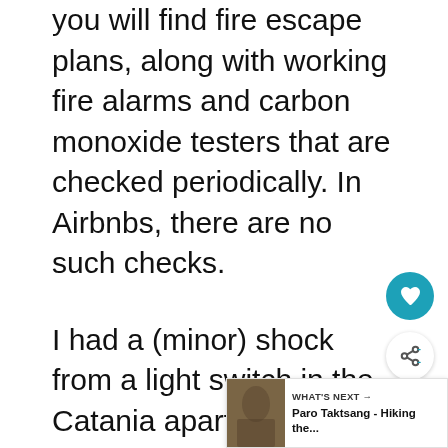you will find fire escape plans, along with working fire alarms and carbon monoxide testers that are checked periodically. In Airbnbs, there are no such checks.
I had a (minor) shock from a light switch in the Catania apartment mentioned above. This resulted in having to have an electrician out, and the bedroom electrics being rewired. This is something minor but goes to demonstrate the lack of any checks carried out on apartments. Literally